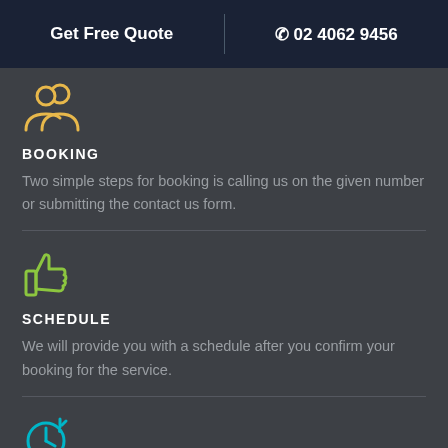Get Free Quote  |  02 4062 9456
[Figure (illustration): Yellow icon of two people (users/group) above booking section]
BOOKING
Two simple steps for booking is calling us on the given number or submitting the contact us form.
[Figure (illustration): Green thumbs up icon above schedule section]
SCHEDULE
We will provide you with a schedule after you confirm your booking for the service.
[Figure (illustration): Cyan/teal clock/timer icon at bottom, partially visible]